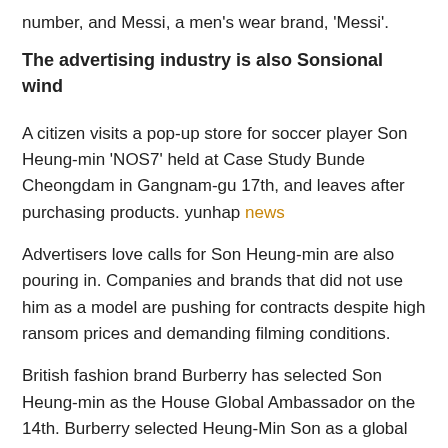number, and Messi, a men's wear brand, 'Messi'.
The advertising industry is also Sonsional wind
A citizen visits a pop-up store for soccer player Son Heung-min 'NOS7' held at Case Study Bunde Cheongdam in Gangnam-gu 17th, and leaves after purchasing products. yunhap news
Advertisers love calls for Son Heung-min are also pouring in. Companies and brands that did not use him as a model are pushing for contracts despite high ransom prices and demanding filming conditions.
British fashion brand Burberry has selected Son Heung-min as the House Global Ambassador on the 14th. Burberry selected Heung-Min Son as a global ambassador, saying that the story of Heung-Min Son, who worked tirelessly with